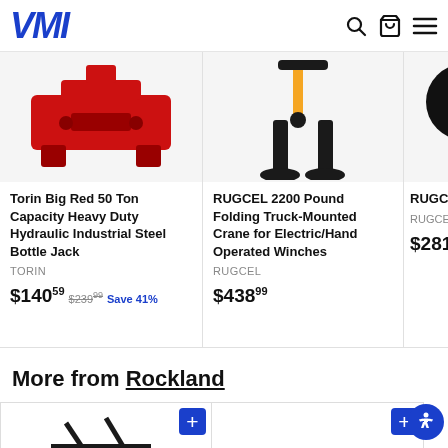VMI
[Figure (photo): Red heavy-duty hydraulic bottle jack (partially cropped)]
Torin Big Red 50 Ton Capacity Heavy Duty Hydraulic Industrial Steel Bottle Jack
Torin
$140.59  $239.99  Save 41%
[Figure (photo): Black truck-mounted crane with orange handle, folding style]
RUGCEL 2200 Pound Folding Truck-Mounted Crane for Electric/Hand Operated Winches
RUGCEL
$438.99
[Figure (photo): RUGCEL electric winch with rope and remote (partially cropped)]
RUGCEL Electric W... Rope an... Remotes...
RUGCEL
$281.29
More from Rockland
[Figure (photo): Black metal rack/stand product, partially visible]
[Figure (photo): Product card (partially visible, no image shown)]